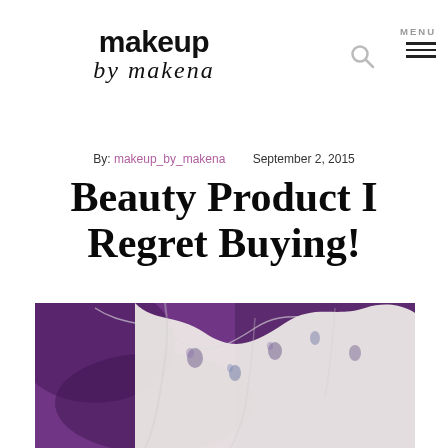[Figure (logo): Makeup by Makena blog logo in stylized handwritten and bold text]
[Figure (other): Search icon (magnifying glass) in the header]
[Figure (other): MENU navigation with three horizontal lines hamburger icon]
By: makeup_by_makena   September 2, 2015
Beauty Product I Regret Buying!
[Figure (photo): Close-up photo of white fabric with blue and purple floral print draped over a purple silk background]